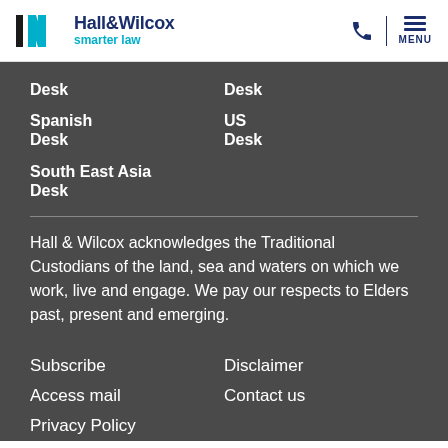Hall&Wilcox smarter law
Desk
Desk
Spanish Desk
US Desk
South East Asia Desk
Hall & Wilcox acknowledges the Traditional Custodians of the land, sea and waters on which we work, live and engage. We pay our respects to Elders past, present and emerging.
Subscribe
Access mail
Privacy Policy
Disclaimer
Contact us